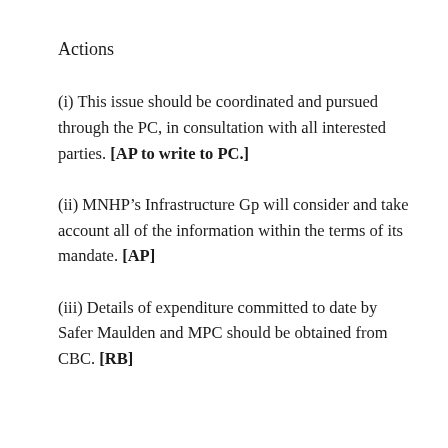Actions
(i) This issue should be coordinated and pursued through the PC, in consultation with all interested parties. [AP to write to PC.]
(ii) MNHP’s Infrastructure Gp will consider and take account all of the information within the terms of its mandate. [AP]
(iii) Details of expenditure committed to date by Safer Maulden and MPC should be obtained from CBC. [RB]